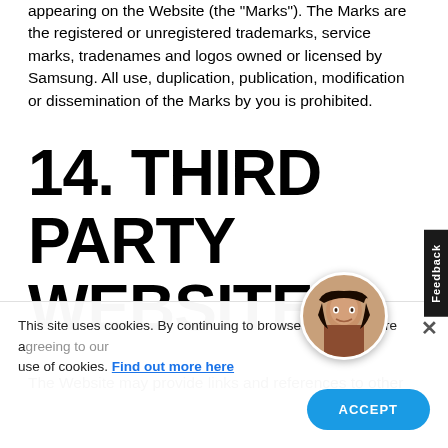appearing on the Website (the "Marks"). The Marks are the registered or unregistered trademarks, service marks, tradenames and logos owned or licensed by Samsung. All use, duplication, publication, modification or dissemination of the Marks by you is prohibited.
14. THIRD PARTY WEBSITES
The Website may provide links and references to other sites
This site uses cookies. By continuing to browse the site you are agreeing to our use of cookies. Find out more here